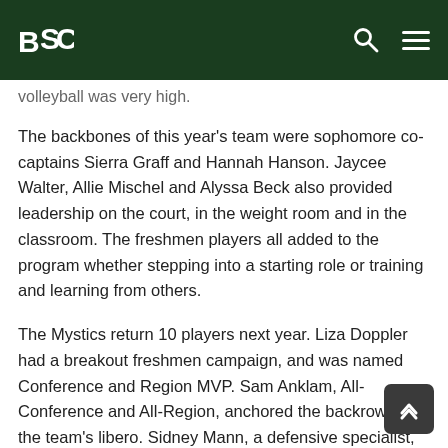BSC [logo] [search icon] [menu icon]
volleyball was very high.
The backbones of this year's team were sophomore co-captains Sierra Graff and Hannah Hanson. Jaycee Walter, Allie Mischel and Alyssa Beck also provided leadership on the court, in the weight room and in the classroom. The freshmen players all added to the program whether stepping into a starting role or training and learning from others.
The Mystics return 10 players next year. Liza Doppler had a breakout freshmen campaign, and was named Conference and Region MVP. Sam Anklam, All-Conference and All-Region, anchored the backrow as the team's libero. Sidney Mann, a defensive specialist, played extensively and was a primary serve receiver.